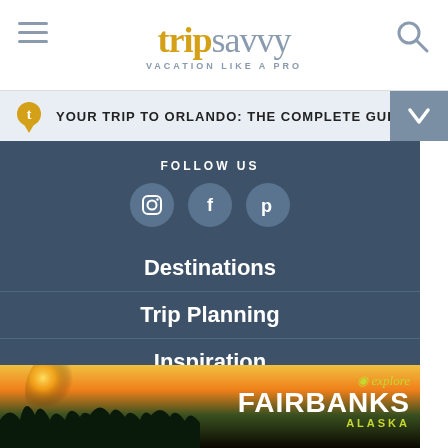[Figure (logo): TripSavvy logo with hamburger menu and search icon. Logo text: 'trip' in gold, 'savvy' in steel blue. Tagline: VACATION LIKE A PRO]
YOUR TRIP TO ORLANDO: THE COMPLETE GUIDE
FOLLOW US
[Figure (infographic): Social media icons: Instagram, Facebook, Pinterest in muted blue circles]
Destinations
Trip Planning
Inspiration
Outdoors
[Figure (photo): Explore Fairbanks Alaska advertisement banner with sunset landscape and forested hills]